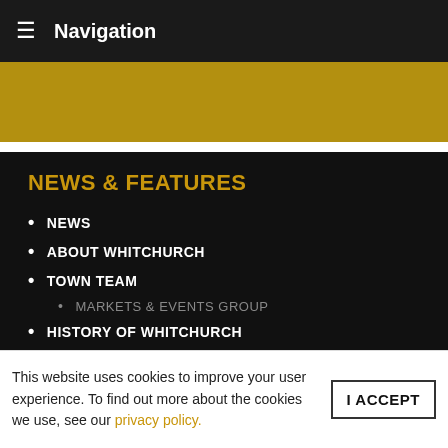≡ Navigation
[Figure (other): Gold/yellow banner strip]
NEWS & FEATURES
NEWS
ABOUT WHITCHURCH
TOWN TEAM
MARKETS & EVENTS GROUP
HISTORY OF WHITCHURCH
FAIRTRADE TOWN
WHITCHURCH FOOD & DRINK FESTIVAL
VISITING WHITCHURCH
ALDERFORD
This website uses cookies to improve your user experience. To find out more about the cookies we use, see our privacy policy.
I ACCEPT